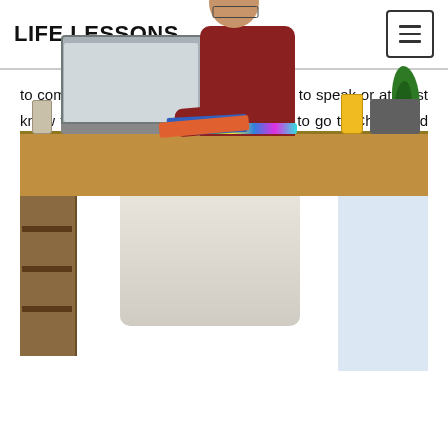LIFE LESSONS
to communicate with the locals you need to speak or at least know their language. If you are planning to go to China, and looking for a Chinese tutor to teach you the language then you must know the chinese tutor rate singapore.
[Figure (photo): A teenage boy with glasses wearing a red sweater studying at a desk with a laptop, colorful markers, and a glass of orange juice. Bookshelves and a bright window are visible in the background.]